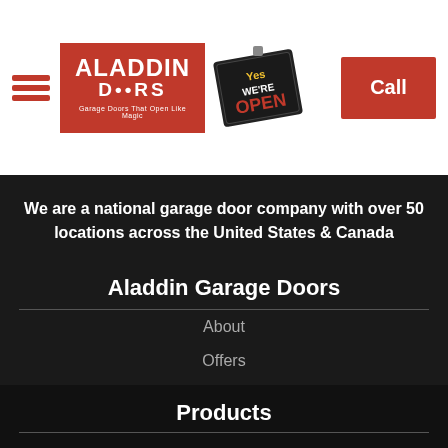[Figure (logo): Aladdin Doors logo on red background with tagline 'Garage Doors That Open Like Magic']
[Figure (illustration): Yes We're Open sign badge]
Call
We are a national garage door company with over 50 locations across the United States & Canada
Aladdin Garage Doors
About
Offers
News
Reviews
Careers
Products